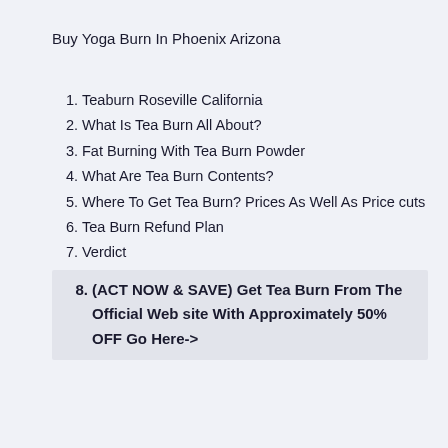Buy Yoga Burn In Phoenix Arizona
Teaburn Roseville California
What Is Tea Burn All About?
Fat Burning With Tea Burn Powder
What Are Tea Burn Contents?
Where To Get Tea Burn? Prices As Well As Price cuts
Tea Burn Refund Plan
Verdict
(ACT NOW & SAVE) Get Tea Burn From The Official Web site With Approximately 50% OFF Go Here->